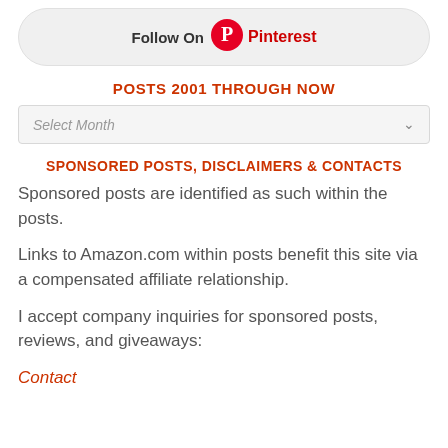[Figure (logo): Pinterest Follow On button with Pinterest logo]
POSTS 2001 THROUGH NOW
Select Month
SPONSORED POSTS, DISCLAIMERS & CONTACTS
Sponsored posts are identified as such within the posts.
Links to Amazon.com within posts benefit this site via a compensated affiliate relationship.
I accept company inquiries for sponsored posts, reviews, and giveaways:
Contact